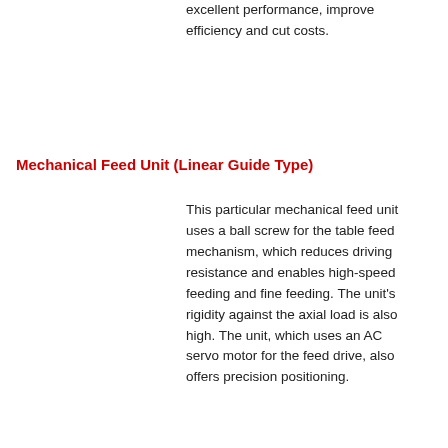excellent performance, improve efficiency and cut costs.
Mechanical Feed Unit (Linear Guide Type)
This particular mechanical feed unit uses a ball screw for the table feed mechanism, which reduces driving resistance and enables high-speed feeding and fine feeding. The unit's rigidity against the axial load is also high. The unit, which uses an AC servo motor for the feed drive, also offers precision positioning.